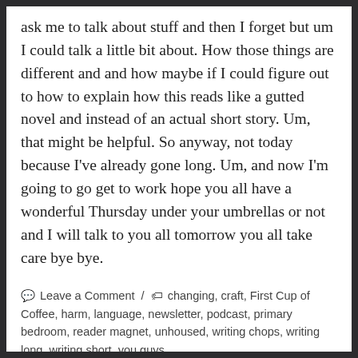ask me to talk about stuff and then I forget but um I could talk a little bit about. How those things are different and and how maybe if I could figure out to how to explain how this reads like a gutted novel and instead of an actual short story. Um, that might be helpful. So anyway, not today because I've already gone long. Um, and now I'm going to go get to work hope you all have a wonderful Thursday under your umbrellas or not and I will talk to you all tomorrow you all take care bye bye.
Leave a Comment / changing, craft, First Cup of Coffee, harm, language, newsletter, podcast, primary bedroom, reader magnet, unhoused, writing chops, writing long, writing short, you guys